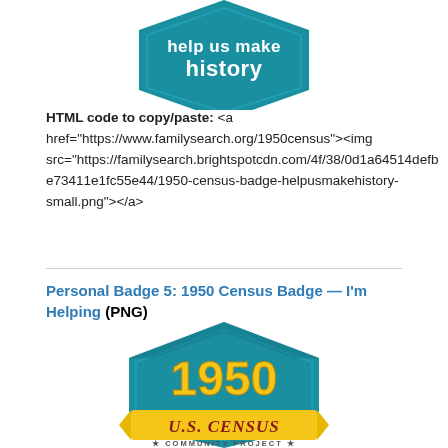[Figure (logo): Top portion of a teal/blue hexagonal census badge with white bold text reading 'help us make history' partially visible at top]
HTML code to copy/paste: <a href="https://www.familysearch.org/1950census"><img src="https://familysearch.brightspotcdn.com/4f/38/0d1a64514defbe73411e1fc55e44/1950-census-badge-helpusmakehistory-small.png"></a>
Personal Badge 5: 1950 Census Badge — I'm Helping (PNG)
[Figure (logo): 1950 U.S. Census Community Project badge — teal hexagonal badge with large yellow '1950' text, dark red outlined banner reading 'U.S. CENSUS' in italic serif font, and yellow ribbon banner at bottom with '★ COMMUNITY PROJECT ★']